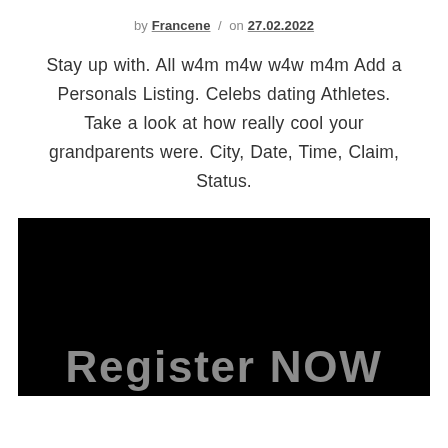by Francene / on 27.02.2022
Stay up with. All w4m m4w w4w m4m Add a Personals Listing. Celebs dating Athletes. Take a look at how really cool your grandparents were. City, Date, Time, Claim, Status.
[Figure (screenshot): Black image background with partially visible bold white text reading 'Register NOW' at the bottom]